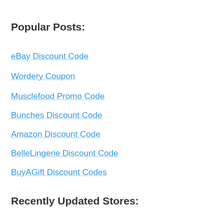Popular Posts:
eBay Discount Code
Wordery Coupon
Musclefood Promo Code
Bunches Discount Code
Amazon Discount Code
BelleLingerie Discount Code
BuyAGift Discount Codes
Recently Updated Stores: